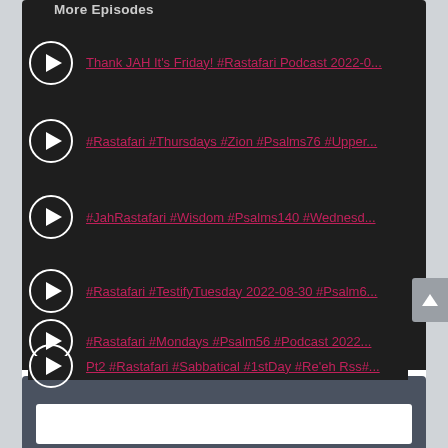More Episodes
Thank JAH It's Friday! #Rastafari Podcast 2022-0...
#Rastafari #Thursdays #Zion #Psalms76 #Upper...
#JahRastafari #Wisdom #Psalms140 #Wednesd...
#Rastafari #TestifyTuesday 2022-08-30 #Psalm6...
#Rastafari #Mondays #Psalm56 #Podcast 2022...
Pt2 #Rastafari #Sabbatical #1stDay #Re'eh Rss#...